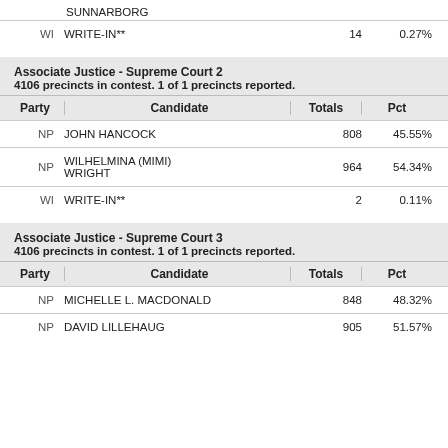SUNNARBORG
| Party | Candidate | Totals | Pct |
| --- | --- | --- | --- |
| WI | WRITE-IN** | 14 | 0.27% |
Associate Justice - Supreme Court 2
4106 precincts in contest. 1 of 1 precincts reported.
| Party | Candidate | Totals | Pct |
| --- | --- | --- | --- |
| NP | JOHN HANCOCK | 808 | 45.55% |
| NP | WILHELMINA (MIMI) WRIGHT | 964 | 54.34% |
| WI | WRITE-IN** | 2 | 0.11% |
Associate Justice - Supreme Court 3
4106 precincts in contest. 1 of 1 precincts reported.
| Party | Candidate | Totals | Pct |
| --- | --- | --- | --- |
| NP | MICHELLE L. MACDONALD | 848 | 48.32% |
| NP | DAVID LILLEHAUG | 905 | 51.57% |